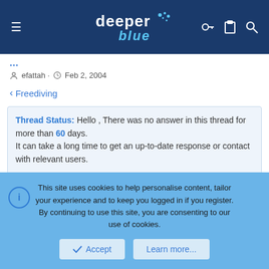deeper blue
efattah · Feb 2, 2004
< Freediving
Thread Status: Hello , There was no answer in this thread for more than 60 days.
It can take a long time to get an up-to-date response or contact with relevant users.
donmoore
New Member
This site uses cookies to help personalise content, tailor your experience and to keep you logged in if you register.
By continuing to use this site, you are consenting to our use of cookies.
Accept  Learn more...